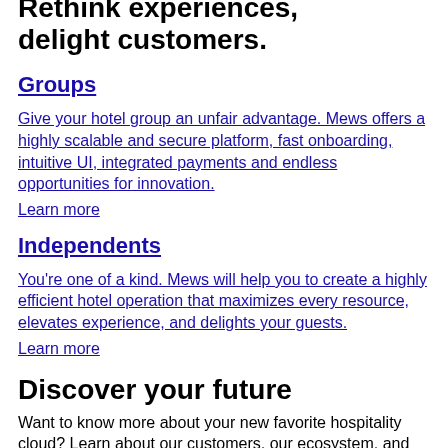Rethink experiences, delight customers.
Groups
Give your hotel group an unfair advantage. Mews offers a highly scalable and secure platform, fast onboarding, intuitive UI, integrated payments and endless opportunities for innovation.
Learn more
Independents
You're one of a kind. Mews will help you to create a highly efficient hotel operation that maximizes every resource, elevates experience, and delights your guests.
Learn more
Discover your future
Want to know more about your new favorite hospitality cloud? Learn about our customers, our ecosystem, and what it's like to be a part of our community, all condensed into one beautifully